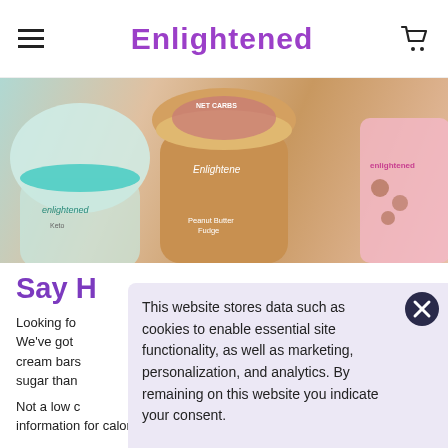Enlightened (logo/navigation header)
[Figure (photo): Hero image showing Enlightened ice cream pint products from above on a white background, including a tan/caramel pint in the center labeled 'Peanut Butter Fudge', a teal-lidded pint on the left, and a pink box on the right. Text visible includes 'NET CARBS' on the center pint lid.]
Say H
Looking fo
We've got
cream bars
sugar than
Not a low c
information for calorie, sugar, fat and saturated fat
This website stores data such as cookies to enable essential site functionality, as well as marketing, personalization, and analytics. By remaining on this website you indicate your consent.
Privacy Policy